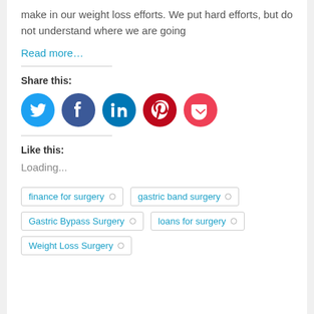make in our weight loss efforts. We put hard efforts, but do not understand where we are going
Read more…
Share this:
[Figure (infographic): Social share icons: Twitter (blue circle), Facebook (blue circle), LinkedIn (dark blue circle), Pinterest (red circle), Pocket (red circle)]
Like this:
Loading...
finance for surgery
gastric band surgery
Gastric Bypass Surgery
loans for surgery
Weight Loss Surgery